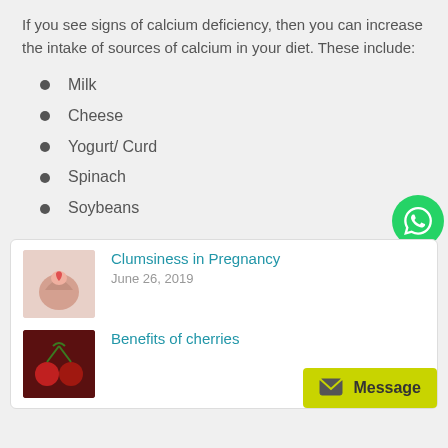If you see signs of calcium deficiency, then you can increase the intake of sources of calcium in your diet. These include:
Milk
Cheese
Yogurt/ Curd
Spinach
Soybeans
[Figure (other): WhatsApp contact button (green circle with WhatsApp icon)]
[Figure (photo): Thumbnail image for Clumsiness in Pregnancy article showing hands holding a red heart]
Clumsiness in Pregnancy
June 26, 2019
[Figure (photo): Thumbnail image for Benefits of cherries article showing cherries]
Benefits of cherries